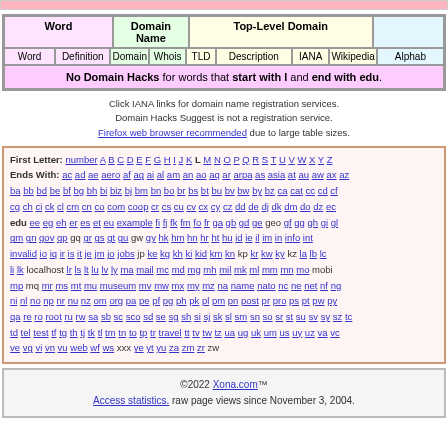| Word | Domain Name | Top-Level Domain |  |
| --- | --- | --- | --- |
| Word | Definition | Domain | Whois | TLD | Description | IANA | Wikipedia | Alphab |
No Domain Hacks for words that start with l and end with edu.
Click IANA links for domain name registration services.
Domain Hacks Suggest is not a registration service.
Firefox web browser recommended due to large table sizes.
First Letter: number A B C D E F G H I J K L M N O P Q R S T U V W X Y Z
Ends With: ac ad ae aero af ag ai al am an ao aq ar arpa as asia at au aw ax az ba bb bd be bf bg bh bi biz bj bm bn bo br bs bt bu bv bw by bz ca cat cc cd cf cg ch ci ck cl cm cn co com coop cr cs cu cv cx cy cz dd de dj dk dm do dz ec edu ee eg eh er es et eu example fi fj fk fm fo fr ga gb gd ge geo gf gg gh gi gl gm gn gov gp gq gr gs gt gu gw gy hk hm hn hr ht hu id ie il im in info int invalid io iq ir is it je jm jo jobs jp ke kg kh ki kid km kn kp kr kw ky kz la lb lc li lk localhost lr ls lt lu lv ly ma mail mc md mg mh mil mk ml mm mn mo mobi mp mq mr ms mt mu museum mv mw mx my mz na name nato nc ne net nf ng ni nl no np nr nu nz om org pa pe pf pg ph pk pl pm pn post pr pro ps pt pw py qa re ro root ru rw sa sb sc sco sd se sg sh si sj sk sl sm sn so sr st su sv sy sz tc td tel test tf tg th tj tk tl tm tn to tp tr travel tt tv tw tz ua ug uk um us uy uz va vc ve vg vi vn vu web wf ws xxx ye yt yu za zm zr zw
©2022 Xona.com™
Access statistics. raw page views since November 3, 2004.